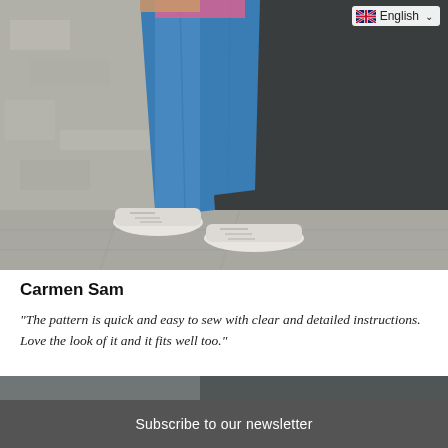[Figure (photo): Lower body of a person wearing blue jeans and white Adidas sneakers, leaning against a dark door with weathered stone wall, street setting]
English
Carmen Sam
"The pattern is quick and easy to sew with clear and detailed instructions. Love the look of it and it fits well too."
[Figure (photo): Partial view of another photo below]
Subscribe to our newsletter